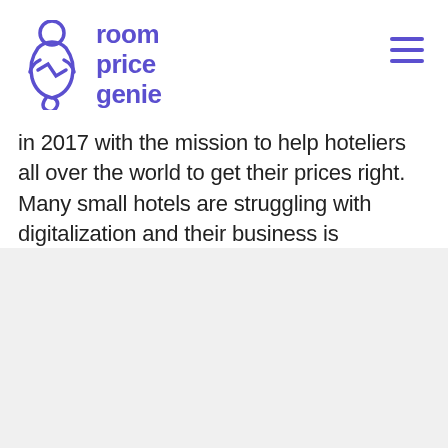[Figure (logo): Room Price Genie logo in purple — genie figure icon with text 'room price genie' in purple, plus hamburger menu icon top right]
in 2017 with the mission to help hoteliers all over the world to get their prices right. Many small hotels are struggling with digitalization and their business is becoming more and more complex. They are losing money and that hurts. And we [...]
[Figure (logo): Room Price Genie logo in black — large genie figure icon with bold text 'room price genie' in black]
RoomPriceGenie AG